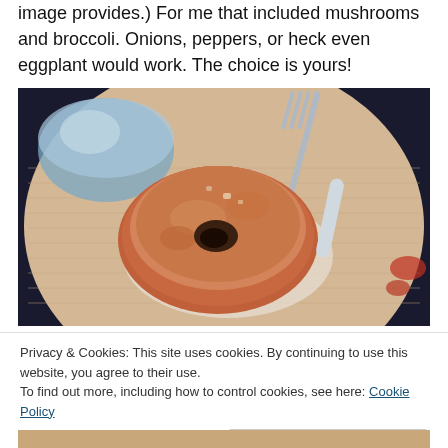image provides.) For me that included mushrooms and broccoli. Onions, peppers, or heck even eggplant would work. The choice is yours!
[Figure (photo): Close-up top-down photo of a stuffed baked tomato on a woven beige plate, with a fork and a glass of water visible. The tomato is baked with a dark center, surrounded by crumbled filling.]
Privacy & Cookies: This site uses cookies. By continuing to use this website, you agree to their use.
To find out more, including how to control cookies, see here: Cookie Policy
Close and accept